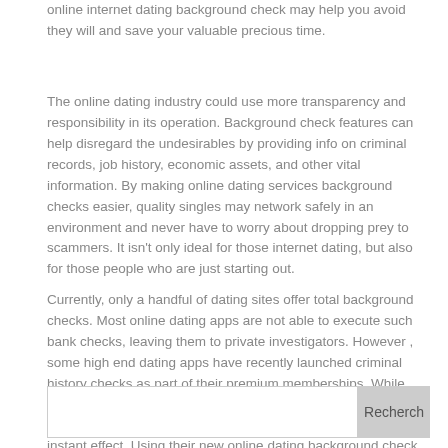online internet dating background check may help you avoid they will and save your valuable precious time.
The online dating industry could use more transparency and responsibility in its operation. Background check features can help disregard the undesirables by providing info on criminal records, job history, economic assets, and other vital information. By making online dating services background checks easier, quality singles may network safely in an environment and never have to worry about dropping prey to scammers. It isn't only ideal for those internet dating, but also for those people who are just starting out.
Currently, only a handful of dating sites offer total background checks. Most online dating apps are not able to execute such bank checks, leaving them to private investigators. However , some high end dating apps have recently launched criminal history checks as part of their premium memberships. While there are many good motives in the world of technology, it is really worth noting why these services may not include any instant effect. Using their new online dating background check, users will be able to better be familiar with person they're meeting on the net.